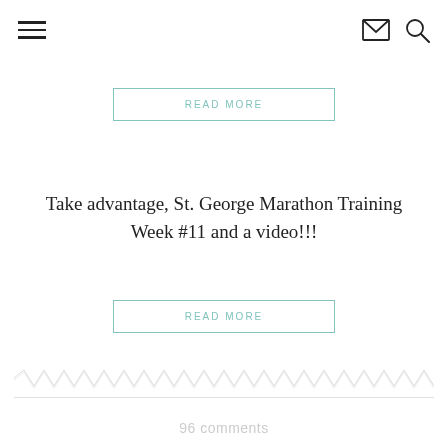[Figure (other): Navigation bar with hamburger menu icon on left, envelope icon and search/magnifier icon on right]
READ MORE
Take advantage, St. George Marathon Training Week #11 and a video!!!
READ MORE
[Figure (other): Decorative zigzag/chevron pattern divider line]
96 comments